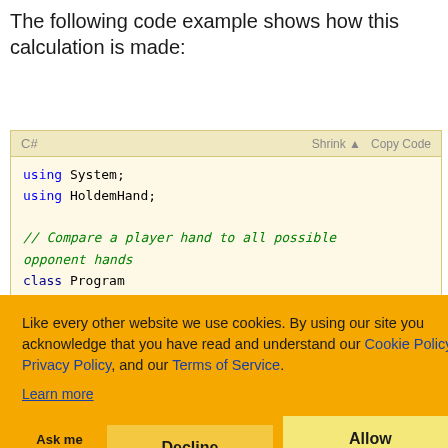The following code example shows how this calculation is made:
[Figure (screenshot): C# code block with toolbar showing 'C#', 'Shrink', 'Copy Code' labels. Code shows: using System; using HoldemHand; // Compare a player hand to all possible opponent hands; class Program; with partial lines visible below]
Like every other website we use cookies. By using our site you acknowledge that you have read and understand our Cookie Policy, Privacy Policy, and our Terms of Service. Learn more
Ask me later  Decline  Allow cookies